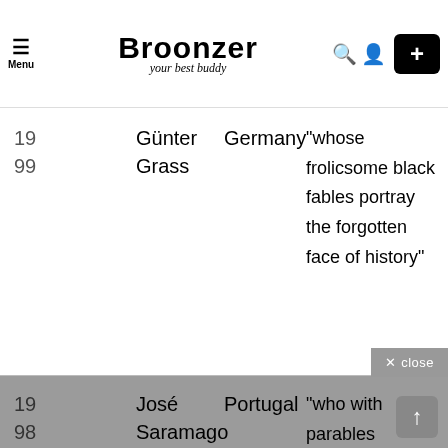Menu | Broonzer your best buddy
| Year | Name | Country | Quote |
| --- | --- | --- | --- |
| 19
99 | Günter
Grass | Germany | “whose frolicsome black fables portray the forgotten face of history” |
| 19
98 | José
Saramago | Portugal | “who with parables sustained by imagination, compassion and irony continually enables us once again to apprehend an elusory reality” |
| 19
97 | Dario Fo | Italy | “who emulates the jesters of the Middle Ages in scourging authority and upholding the |